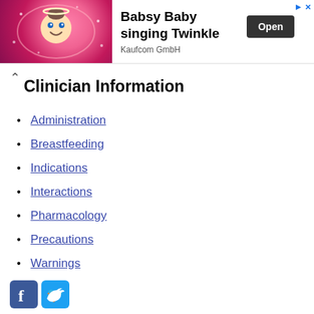[Figure (photo): Advertisement banner: Babsy Baby app ad with animated baby character on pink starry background, Open button, and Kaufcom GmbH label]
Clinician Information
Administration
Breastfeeding
Indications
Interactions
Pharmacology
Precautions
Warnings
[Figure (logo): Facebook and Twitter social media icons]